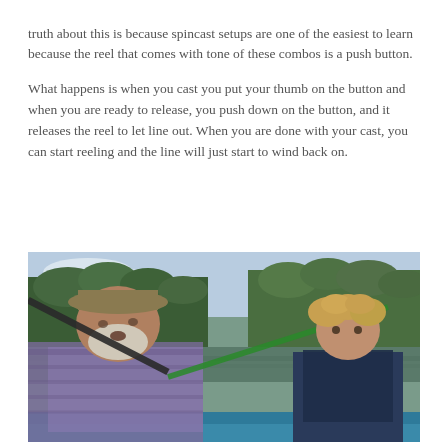truth about this is because spincast setups are one of the easiest to learn because the reel that comes with tone of these combos is a push button.
What happens is when you cast you put your thumb on the button and when you are ready to release, you push down on the button, and it releases the reel to let line out. When you are done with your cast, you can start reeling and the line will just start to wind back on.
[Figure (photo): An older bearded man wearing a hat and plaid shirt sitting in a boat on a lake, with a young curly-haired child in dark clothing behind him. Trees and sky visible in background.]